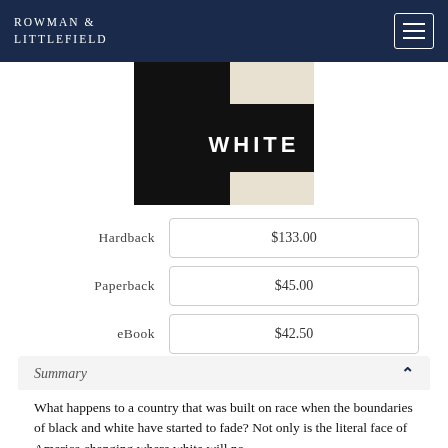ROWMAN & LITTLEFIELD
[Figure (photo): Book cover showing the word WHITE in bold white letters on a black background, with a beige/cream section]
| Format | Price |
| --- | --- |
| Hardback | $133.00 |
| Paperback | $45.00 |
| eBook | $42.50 |
Summary
What happens to a country that was built on race when the boundaries of black and white have started to fade? Not only is the literal face of America changing where white will no